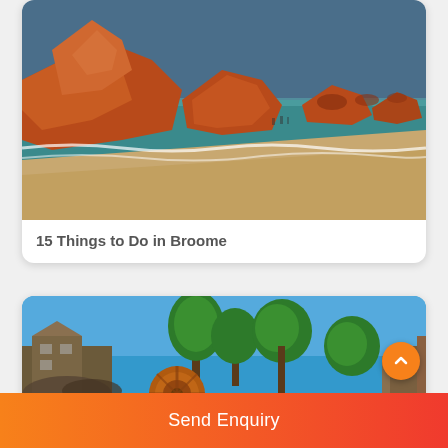[Figure (photo): Red sandstone cliffs and sandy beach with ocean waves, Broome Western Australia]
15 Things to Do in Broome
[Figure (photo): Outdoor market or festival scene with trees and rusty machinery, Broome]
Send Enquiry